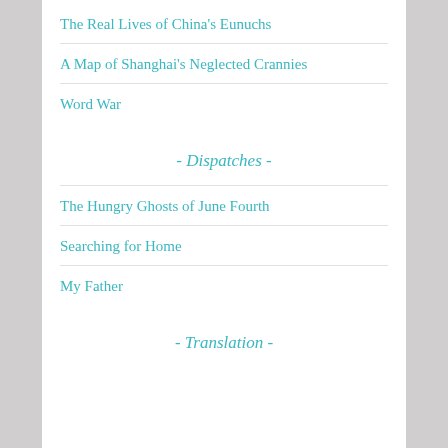The Real Lives of China's Eunuchs
A Map of Shanghai's Neglected Crannies
Word War
- Dispatches -
The Hungry Ghosts of June Fourth
Searching for Home
My Father
- Translation -